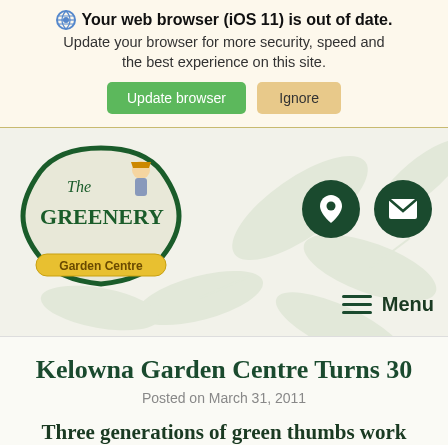⚙️ Your web browser (iOS 11) is out of date. Update your browser for more security, speed and the best experience on this site.
[Figure (logo): The Greenery Garden Centre logo: oval green border with cartoon gardener character, text 'The GREENERY' and 'Garden Centre' in yellow banner]
[Figure (infographic): Location pin icon (dark green circle with white map pin) and envelope icon (dark green circle with white envelope), plus hamburger menu icon with 'Menu' text]
Kelowna Garden Centre Turns 30
Posted on March 31, 2011
Three generations of green thumbs work